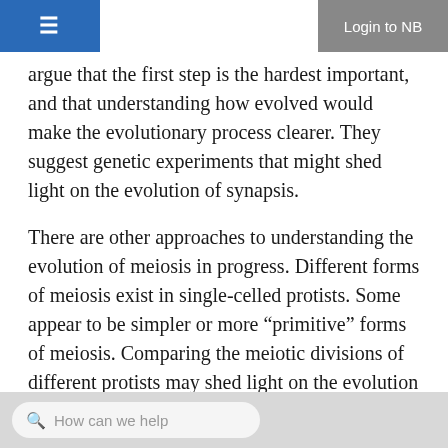Login to NB
argue that the first step is the hardest important, and that understanding how evolved would make the evolutionary process clearer. They suggest genetic experiments that might shed light on the evolution of synapsis.
There are other approaches to understanding the evolution of meiosis in progress. Different forms of meiosis exist in single-celled protists. Some appear to be simpler or more “primitive” forms of meiosis. Comparing the meiotic divisions of different protists may shed light on the evolution of meiosis. Marilee Ramesh and colleagues 3 compared the genes involved in meiosis in protists to understand when and where meiosis might have evolved. Although research is still ongoing, recent scholarship into